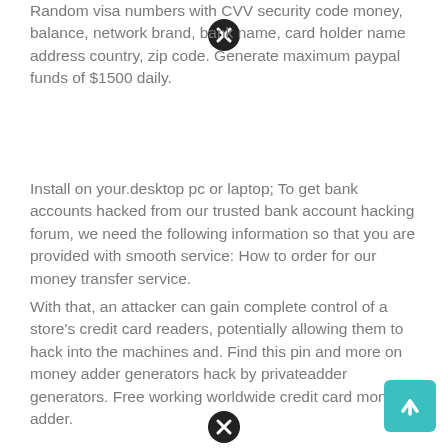Random visa numbers with CVV security code money, balance, network brand, bank name, card holder name address country, zip code. Generate maximum paypal funds of $1500 daily.
Install on your.desktop pc or laptop; To get bank accounts hacked from our trusted bank account hacking forum, we need the following information so that you are provided with smooth service: How to order for our money transfer service.
With that, an attacker can gain complete control of a store's credit card readers, potentially allowing them to hack into the machines and. Find this pin and more on money adder generators hack by privateadder generators. Free working worldwide credit card money adder.